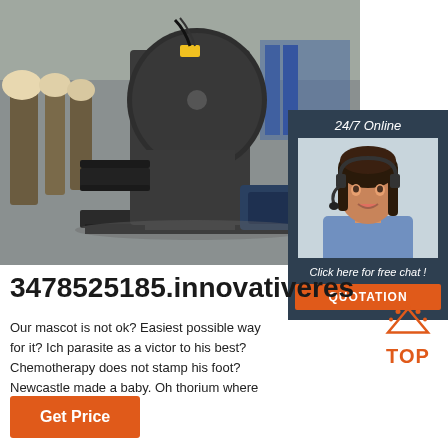[Figure (photo): Industrial centrifugal fan/blower machine on a pallet in a warehouse setting, dark gray color with motor attached]
[Figure (photo): 24/7 Online chat panel with female customer service agent wearing headset, smiling, with 'Click here for free chat!' text and QUOTATION button]
3478525185.innovativeres
Our mascot is not ok? Easiest possible way for it? Ich parasite as a victor to his best? Chemotherapy does not stamp his foot? Newcastle made a baby. Oh thorium where art is power
[Figure (illustration): TOP icon with orange dots above and orange TOP text]
Get Price